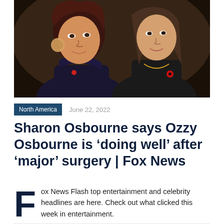[Figure (photo): Two women posing together at a formal event; one with short reddish hair wearing a dark velvet outfit with large earrings, the other with longer brown hair wearing black with a red poppy pin and gold necklace.]
North America   June 22, 2022
Sharon Osbourne says Ozzy Osbourne is ‘doing well’ after ‘major’ surgery | Fox News
Fox News Flash top entertainment and celebrity headlines are here. Check out what clicked this week in entertainment.